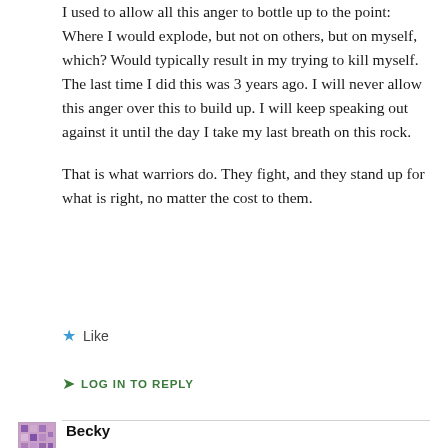I used to allow all this anger to bottle up to the point: Where I would explode, but not on others, but on myself, which? Would typically result in my trying to kill myself. The last time I did this was 3 years ago. I will never allow this anger over this to build up. I will keep speaking out against it until the day I take my last breath on this rock.
That is what warriors do. They fight, and they stand up for what is right, no matter the cost to them.
Like
LOG IN TO REPLY
Becky
FEBRUARY 25, 2020 AT 10:28 PM
I’m glad you’re seeing someone. It’s definitely better to express anger than to allow it to build. I hope there